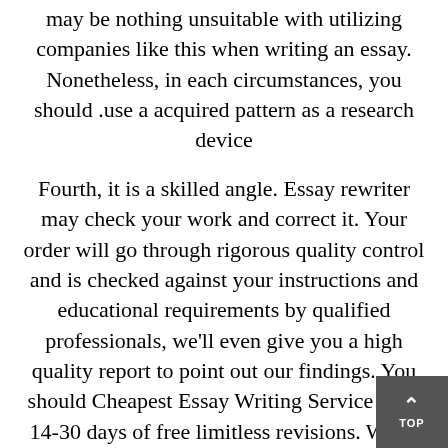may be nothing unsuitable with utilizing companies like this when writing an essay. Nonetheless, in each circumstances, you should use a acquired pattern as a research device.
Fourth, it is a skilled angle. Essay rewriter may check your work and correct it. Your order will go through rigorous quality control and is checked against your instructions and educational requirements by qualified professionals, we'll even give you a high quality report to point out our findings. You should Cheapest Essay Writing Service have 14-30 days of free limitless revisions. When you really feel that certain elements of labor might use some improvements, then your paper author will do it as requested. Reaching out